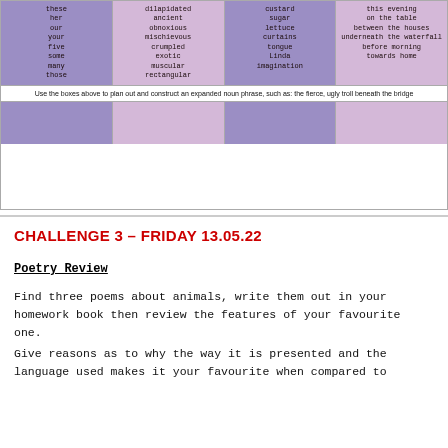| Determiner | Adjective | Noun | Preposition phrase |
| --- | --- | --- | --- |
| these
her
our
your
five
some
many
those | dilapidated
ancient
obnoxious
mischievous
crumpled
exotic
muscular
rectangular | custard
sugar
lettuce
curtains
tongue
Linda
imagination | this evening
on the table
between the houses
underneath the waterfall
before morning
towards home |
Use the boxes above to plan out and construct an expanded noun phrase, such as: the fierce, ugly troll beneath the bridge
CHALLENGE 3 - FRIDAY 13.05.22
Poetry Review
Find three poems about animals, write them out in your homework book then review the features of your favourite one.
Give reasons as to why the way it is presented and the language used makes it your favourite when compared to